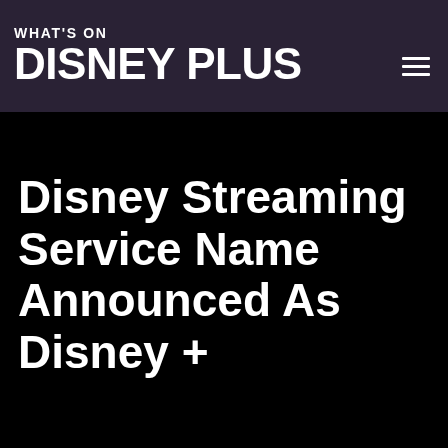WHAT'S ON DISNEY PLUS
Disney Streaming Service Name Announced As Disney +